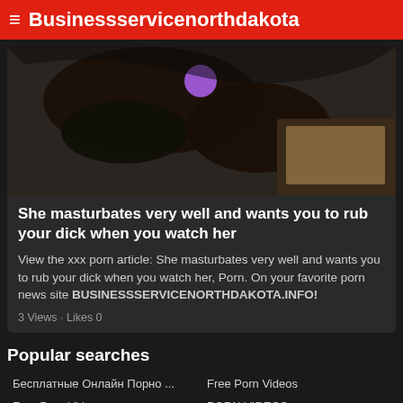≡ Businessservicenorthdakota
[Figure (photo): Dark photo showing a person in a sexual act with a purple object visible]
She masturbates very well and wants you to rub your dick when you watch her
View the xxx porn article: She masturbates very well and wants you to rub your dick when you watch her, Porn. On your favorite porn news site BUSINESSSERVICENORTHDAKOTA.INFO!
3 Views · Likes 0
Popular searches
Бесплатные Онлайн Порно ...
Free Porn Videos
Porn Xxx Videos
Porn Videos Tube
XXX Cartoon Porn
Free Porn Videos
PORN VIDEOS
Free Porn
Porn Videos
Porn Videos